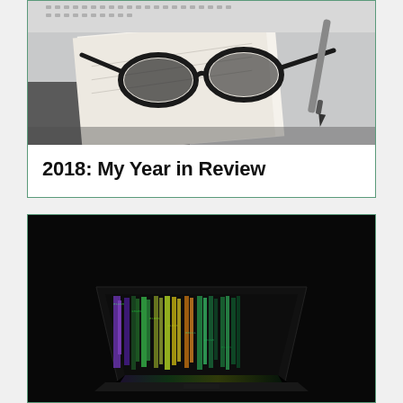[Figure (photo): Photo of glasses and a pen resting on an open notebook, with a laptop keyboard visible in the background. Monochrome/grayscale tones.]
2018: My Year in Review
[Figure (photo): Dark photo of a laptop computer with a colorful matrix-style code display on its screen, reflected on a dark surface.]